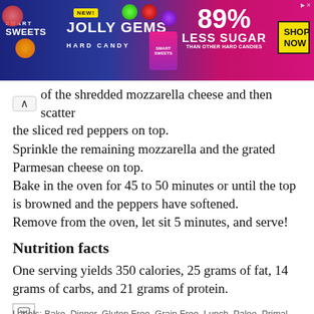[Figure (photo): Smart Sweets Jolly Gems Hard Candy advertisement banner. Blue and pink background. NEW! badge. 89% LESS SUGAR than other hard candies. SHOP NOW yellow button.]
of the shredded mozzarella cheese and then scatter the sliced red peppers on top.
Sprinkle the remaining mozzarella and the grated Parmesan cheese on top.
Bake in the oven for 45 to 50 minutes or until the top is browned and the peppers have softened.
Remove from the oven, let sit 5 minutes, and serve!
Nutrition facts
One serving yields 350 calories, 25 grams of fat, 14 grams of carbs, and 21 grams of protein.
Labels: Bake, Dinner, Gluten Free, Grain Free, Lunch, Paleo, Primal